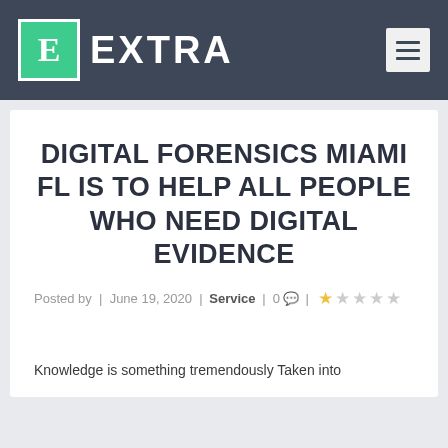EXTRA
DIGITAL FORENSICS MIAMI FL IS TO HELP ALL PEOPLE WHO NEED DIGITAL EVIDENCE
Posted by | June 19, 2020 | Service | 0 💬 |
Knowledge is something tremendously Taken into